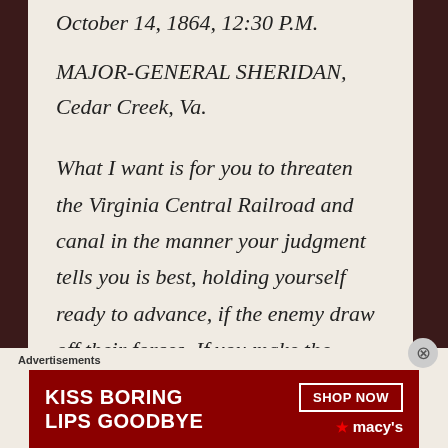October 14, 1864, 12:30 P.M.
MAJOR-GENERAL SHERIDAN,
Cedar Creek, Va.
What I want is for you to threaten the Virginia Central Railroad and canal in the manner your judgment tells you is best, holding yourself ready to advance, if the enemy draw off their forces. If you make the enemy hold a force equal to your own for the protection of those thoroughfares, it will accomplish
Advertisements
[Figure (other): Macy's lipstick advertisement banner: 'KISS BORING LIPS GOODBYE' with SHOP NOW button and Macy's logo on red background]